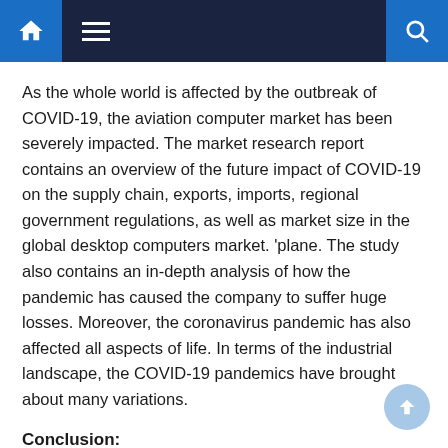Navigation bar with home, menu, and search icons
As the whole world is affected by the outbreak of COVID-19, the aviation computer market has been severely impacted. The market research report contains an overview of the future impact of COVID-19 on the supply chain, exports, imports, regional government regulations, as well as market size in the global desktop computers market. ‘plane. The study also contains an in-depth analysis of how the pandemic has caused the company to suffer huge losses. Moreover, the coronavirus pandemic has also affected all aspects of life. In terms of the industrial landscape, the COVID-19 pandemics have brought about many variations.
Conclusion:
The study is a compilation of first-hand data, qualitative and quantitative data by industry analysts and input from